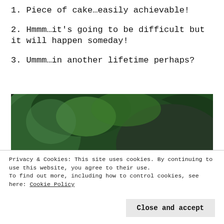1. Piece of cake…easily achievable!
2. Hmmm…it's going to be difficult but it will happen someday!
3. Ummm…in another lifetime perhaps?
[Figure (photo): Outdoor photo showing trees with dense green foliage and a building with balconies on the left side]
Privacy & Cookies: This site uses cookies. By continuing to use this website, you agree to their use.
To find out more, including how to control cookies, see here: Cookie Policy
Close and accept